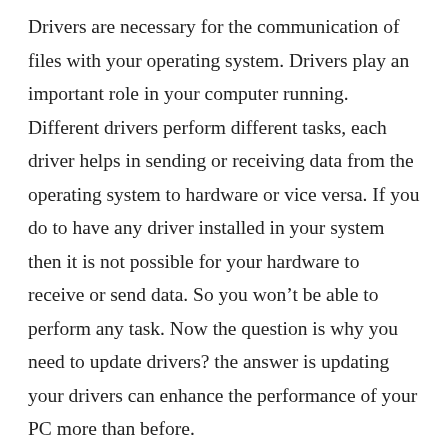Drivers are necessary for the communication of files with your operating system. Drivers play an important role in your computer running. Different drivers perform different tasks, each driver helps in sending or receiving data from the operating system to hardware or vice versa. If you do to have any driver installed in your system then it is not possible for your hardware to receive or send data. So you won't be able to perform any task. Now the question is why you need to update drivers? the answer is updating your drivers can enhance the performance of your PC more than before.
DriverDoc was specially designed to update drivers whenever there is a new release came. It will save a lot of